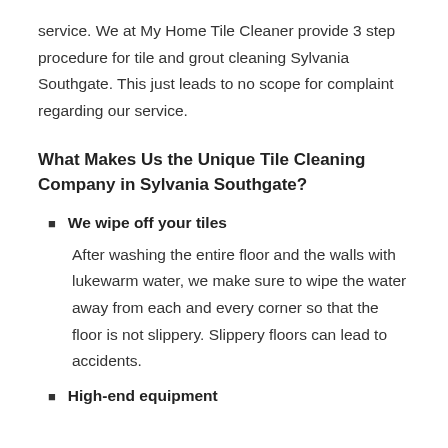service. We at My Home Tile Cleaner provide 3 step procedure for tile and grout cleaning Sylvania Southgate. This just leads to no scope for complaint regarding our service.
What Makes Us the Unique Tile Cleaning Company in Sylvania Southgate?
We wipe off your tiles
After washing the entire floor and the walls with lukewarm water, we make sure to wipe the water away from each and every corner so that the floor is not slippery. Slippery floors can lead to accidents.
High-end equipment